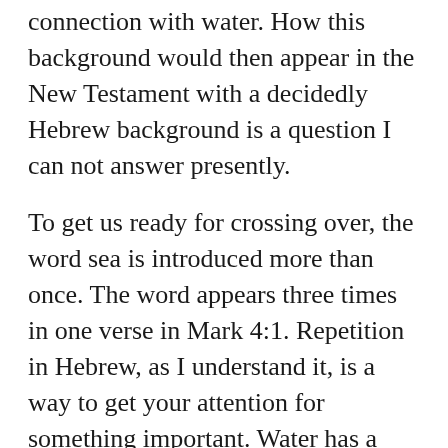connection with water. How this background would then appear in the New Testament with a decidedly Hebrew background is a question I can not answer presently.
To get us ready for crossing over, the word sea is introduced more than once. The word appears three times in one verse in Mark 4:1. Repetition in Hebrew, as I understand it, is a way to get your attention for something important. Water has a historical connection to transformation, change, Jonah, baptism, etc. Fire and water are two major metaphors relating to change.
Jesus is teaching by the Sea and in a boat in the Sea to protect himself, crowd control. We could do